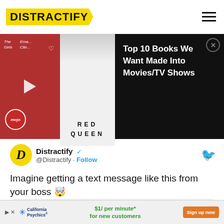DISTRACTIFY
[Figure (screenshot): Banner showing Top 10 Books We Want Made Into Movies/TV Shows with Red Queen book cover and WatchMojo video thumbnail]
Top 10 Books We Want Made Into Movies/TV Shows
Distractify @Distractify · Follow
Imagine getting a text message like this from your boss 🤯
[Figure (screenshot): Embedded tweet image placeholder (blank white box with rounded border)]
[Figure (screenshot): California Psychics advertisement: $1/ per minute* for new customers - Sign up now]